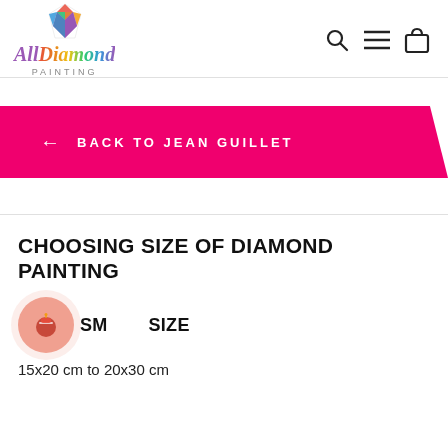All Diamond Painting
[Figure (logo): All Diamond Painting logo with colorful gem icon and stylized text]
← BACK TO JEAN GUILLET
CHOOSING SIZE OF DIAMOND PAINTING
SMALL SIZE
15x20 cm to 20x30 cm